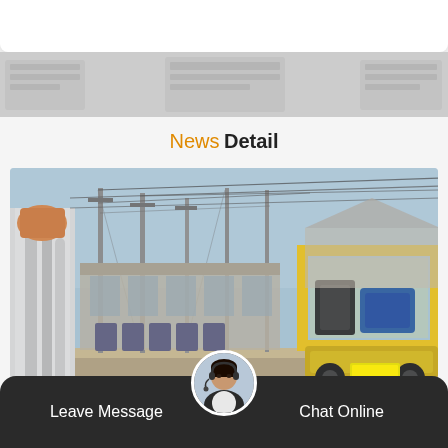News Detail
[Figure (photo): Outdoor electrical substation with tall poles, wires, transformers, and a yellow industrial vehicle/crane on the right side. Industrial facility visible in background.]
Leave Message
Chat Online